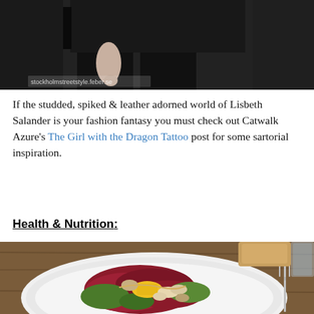[Figure (photo): Cropped photo of a person dressed in all black clothing, holding a bag, standing — partial body view showing torso and hands. Watermark text 'stockholmstreetstyle.feber.se' visible in lower left of image.]
If the studded, spiked & leather adorned world of Lisbeth Salander is your fashion fantasy you must check out Catwalk Azure's The Girl with the Dragon Tattoo post for some sartorial inspiration.
Health & Nutrition:
[Figure (photo): Close-up photo of a salad plate on a wooden table, featuring radicchio, corn, beans, greens, and mushrooms on a white plate. A fork and drinking glass are visible in the background.]